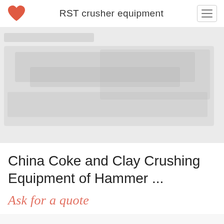RST crusher equipment
[Figure (photo): Faded/ghosted image of crusher equipment machinery, appearing as a light gray placeholder]
China Coke and Clay Crushing Equipment of Hammer ...
Ask for a quote